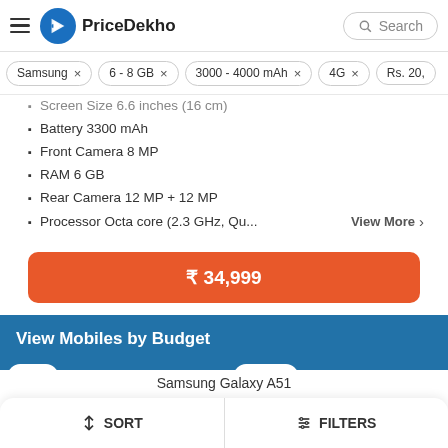PriceDekho
Samsung ×
6 - 8 GB ×
3000 - 4000 mAh ×
4G ×
Rs. 20,...
Screen Size 6.6 inches (16 cm)
Battery 3300 mAh
Front Camera 8 MP
RAM 6 GB
Rear Camera 12 MP + 12 MP
Processor Octa core (2.3 GHz, Qu...
₹ 34,999
View Mobiles by Budget
Und...
↓↑ SORT
⇅ FILTERS
ve 500
Samsung Galaxy A51